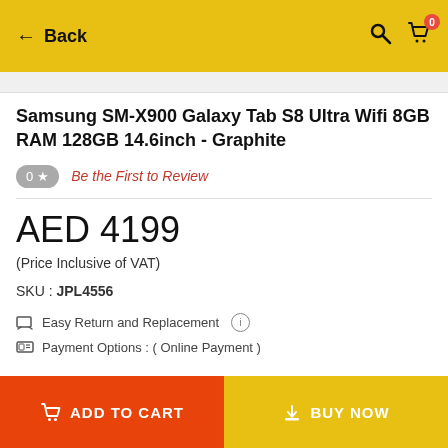Back
Samsung SM-X900 Galaxy Tab S8 Ultra Wifi 8GB RAM 128GB 14.6inch - Graphite
0 ★  Be the First to Review
AED 4199
(Price Inclusive of VAT)
SKU : JPL4556
Easy Return and Replacement
Payment Options : ( Online Payment )
ADD TO CART   BUY NOW